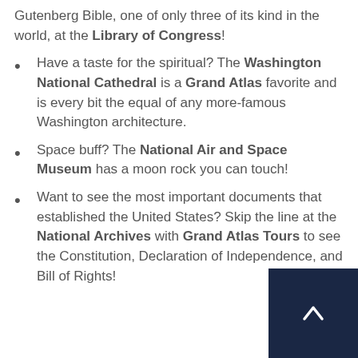Gutenberg Bible, one of only three of its kind in the world, at the Library of Congress!
Have a taste for the spiritual? The Washington National Cathedral is a Grand Atlas favorite and is every bit the equal of any more-famous Washington architecture.
Space buff? The National Air and Space Museum has a moon rock you can touch!
Want to see the most important documents that established the United States? Skip the line at the National Archives with Grand Atlas Tours to see the Constitution, Declaration of Independence, and Bill of Rights!